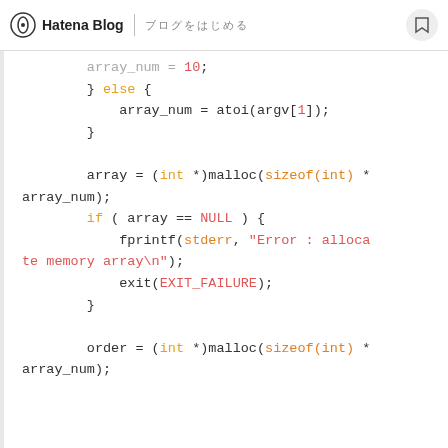Hatena Blog | ブログをはじめる
[Figure (screenshot): C code snippet showing array allocation with malloc, NULL check with fprintf error and exit, and order allocation with malloc]